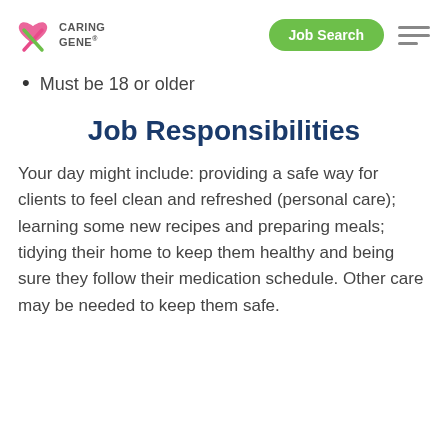Caring Gene | Job Search
Must be 18 or older
Job Responsibilities
Your day might include: providing a safe way for clients to feel clean and refreshed (personal care); learning some new recipes and preparing meals; tidying their home to keep them healthy and being sure they follow their medication schedule. Other care may be needed to keep them safe.